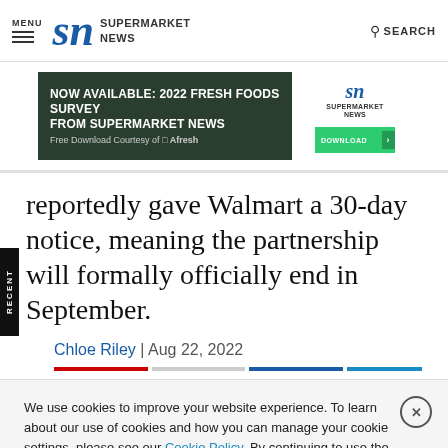MENU | SN SUPERMARKET NEWS | SEARCH
[Figure (screenshot): Advertisement banner: NOW AVAILABLE: 2022 FRESH FOODS SURVEY FROM SUPERMARKET NEWS - Free Download Courtesy of Afresh. With SN Supermarket News logo and green DOWNLOAD button on white right panel.]
reportedly gave Walmart a 30-day notice, meaning the partnership will formally officially end in September.
Chloe Riley | Aug 22, 2022
We use cookies to improve your website experience. To learn about our use of cookies and how you can manage your cookie settings, please see our Cookie Policy. By continuing to use the website, you consent to our use of cookies.